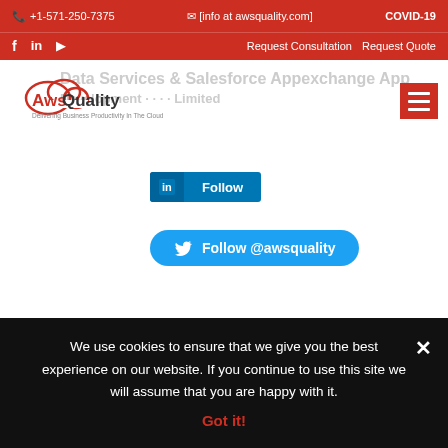+1-571-250-7375  [info at awsquality.com]  COVID-19
f  in  (youtube)  Request Consultation  Request Quote
[Figure (logo): AwsQuality logo - cloud shape with text 'AwsQuality - Delivering Business Productivity In The Cloud']
[Figure (screenshot): LinkedIn Follow button (blue rectangular button with LinkedIn icon and 'Follow' text)]
[Figure (screenshot): Twitter Follow @awsquality button (blue rounded button with Twitter bird icon)]
We use cookies to ensure that we give you the best experience on our website. If you continue to use this site we will assume that you are happy with it.
Got it!